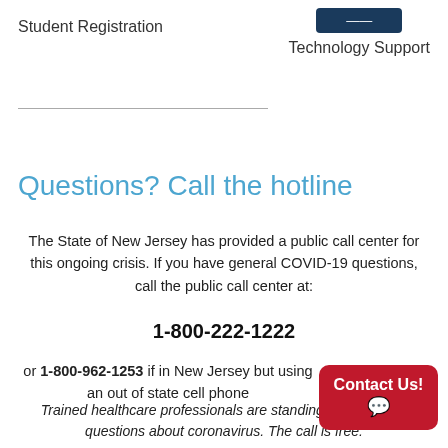Student Registration
[Figure (other): Dark navy blue button/banner element]
Technology Support
Questions? Call the hotline
The State of New Jersey has provided a public call center for this ongoing crisis. If you have general COVID-19 questions, call the public call center at:
1-800-222-1222
or 1-800-962-1253 if in New Jersey but using an out of state cell phone
Trained healthcare professionals are standing by to answer questions about coronavirus. The call is free.
[Figure (other): Red rounded rectangle Contact Us button with chat bubble icon]